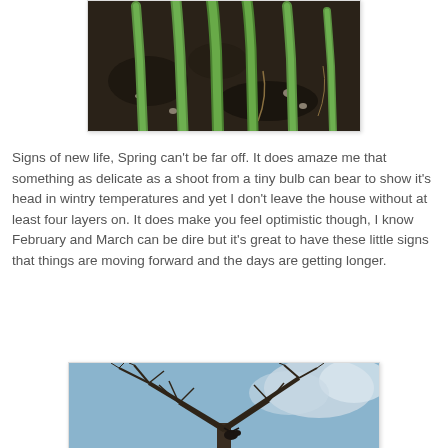[Figure (photo): Green plant shoots emerging from dark soil, early spring bulbs sprouting]
Signs of new life, Spring can't be far off. It does amaze me that something as delicate as a shoot from a tiny bulb can bear to show it's head in wintry temperatures and yet I don't leave the house without at least four layers on. It does make you feel optimistic though, I know February and March can be dire but it's great to have these little signs that things are moving forward and the days are getting longer.
[Figure (photo): Bare winter tree branches against a blue sky with clouds, a small bird visible in the branches]